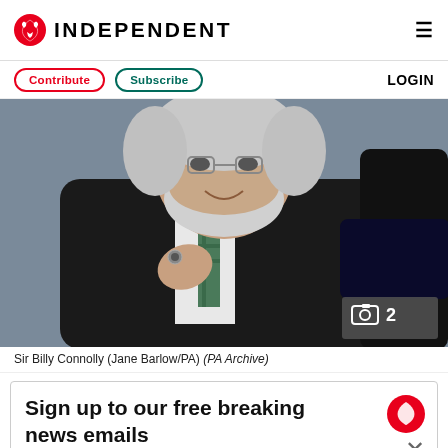INDEPENDENT
Contribute  Subscribe  LOGIN
[Figure (photo): Sir Billy Connolly in a suit with a green tie, smiling and pointing, with white beard and glasses. Photo counter badge showing camera icon and number 2.]
Sir Billy Connolly (Jane Barlow/PA) (PA Archive)
Sign up to our free breaking news emails